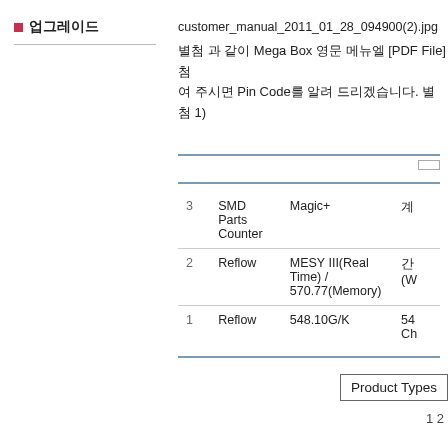업그레이드
customer_manual_2011_01_28_094900(2).jpg
별첨 과 같이 Mega Box 영문 메뉴엘 [PDF File] 첨 여 주시면 Pin Code를 알려 드리겠습니다. 별첨 1)
|  |  |  |  |
| --- | --- | --- | --- |
| 3 | SMD Parts Counter | Magic+ | 계 |
| 2 | Reflow | MESY III(Real Time) / 570.77(Memory) | 간 (W |
| 1 | Reflow | 548.10G/K | 54 Ch |
Product Types
1 2